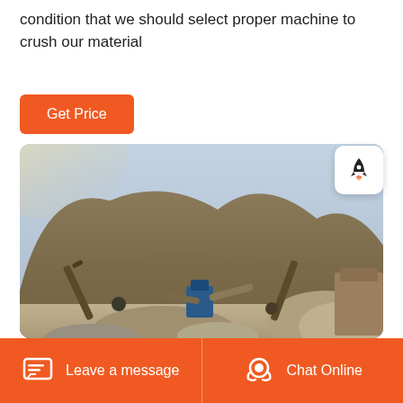condition that we should select proper machine to crush our material
Get Price
[Figure (photo): Outdoor quarry/mining site with large machinery, conveyors, piles of crushed stone/gravel, and a steep rocky hillside in the background under a hazy sky.]
Leave a message   Chat Online